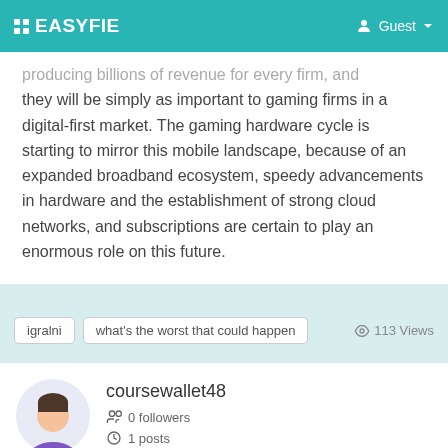EASYFIE  Guest
producing billions of revenue for every firm, and they will be simply as important to gaming firms in a digital-first market. The gaming hardware cycle is starting to mirror this mobile landscape, because of an expanded broadband ecosystem, speedy advancements in hardware and the establishment of strong cloud networks, and subscriptions are certain to play an enormous role on this future.
igralni   what's the worst that could happen   113 Views
coursewallet48
0 followers
1 posts